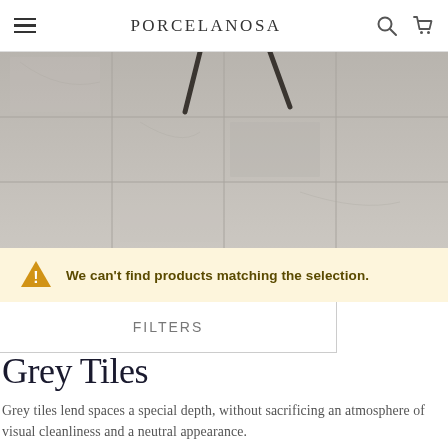PORCELANOSA
[Figure (photo): Grey tile flooring with furniture legs visible, showing large-format stone-look porcelain tiles in a beige-grey tone]
We can't find products matching the selection.
FILTERS
Grey Tiles
Grey tiles lend spaces a special depth, without sacrificing an atmosphere of visual cleanliness and a neutral appearance.
This type of wall and floor tile is available in a variety of tile series in different formats and finishes and it can be easily combined, both with other ceramic pieces as well as with elements of furniture and